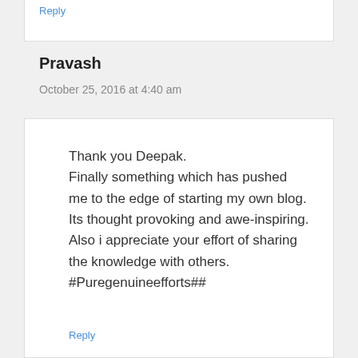Reply
Pravash
October 25, 2016 at 4:40 am
Thank you Deepak.
Finally something which has pushed me to the edge of starting my own blog.
Its thought provoking and awe-inspiring.
Also i appreciate your effort of sharing the knowledge with others.
#Puregenuineefforts##
Reply